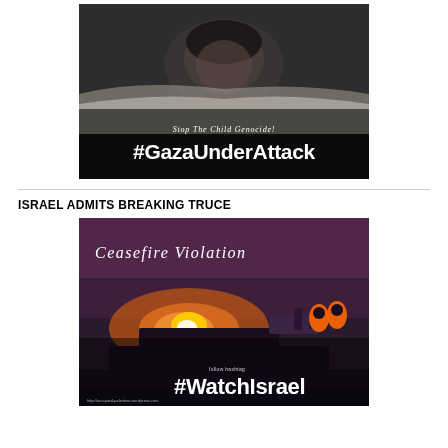[Figure (photo): Dark-toned image of a child lying down with text overlay 'Stop The Child Genocide! #GazaUnderAttack']
ISRAEL ADMITS BREAKING TRUCE
[Figure (photo): Image of a naval vessel firing at sea with text overlay 'Ceasefire Violation #WatchIsrael']